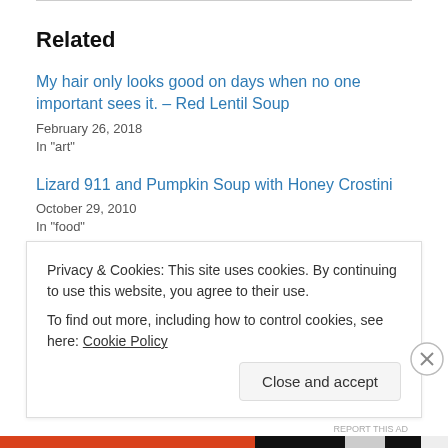Related
My hair only looks good on days when no one important sees it. – Red Lentil Soup
February 26, 2018
In "art"
Lizard 911 and Pumpkin Soup with Honey Crostini
October 29, 2010
In "food"
I got an abnyee for some houdin and Delicious Split Pea and
Privacy & Cookies: This site uses cookies. By continuing to use this website, you agree to their use.
To find out more, including how to control cookies, see here: Cookie Policy
Close and accept